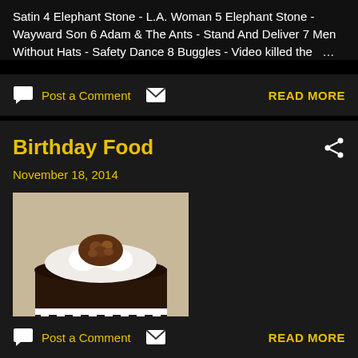Satin 4 Elephant Stone - L.A. Woman 5 Elephant Stone - Wayward Son 6 Adam & The Ants - Stand And Deliver 7 Men Without Hats - Safety Dance 8 Buggles - Video killed the …
Post a Comment
READ MORE
Birthday Food
November 18, 2014
[Figure (photo): A chocolate cake with white whipped cream topping and chocolate/nut garnish on top, dark chocolate drip sides on a white surface]
Post a Comment
READ MORE